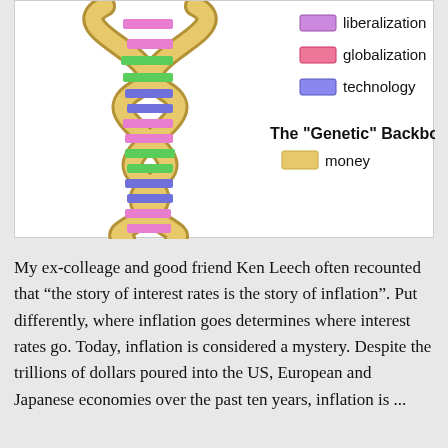[Figure (illustration): A DNA double helix illustration used as a metaphor for economic forces. The helix backbone is golden/yellow representing 'money'. The rungs/base pairs are colored in pink/magenta (liberalization), pink/red (globalization), and blue/purple (technology). A legend on the right lists: liberalization (pink/magenta swatch), globalization (pink/red swatch), technology (blue/purple swatch). Below the legend is the label 'The "Genetic" Backbone' in bold, with a golden/yellow swatch labeled 'money'.]
My ex-colleage and good friend Ken Leech often recounted that “the story of interest rates is the story of inflation”. Put differently, where inflation goes determines where interest rates go. Today, inflation is considered a mystery. Despite the trillions of dollars poured into the US, European and Japanese economies over the past ten years, inflation is ...